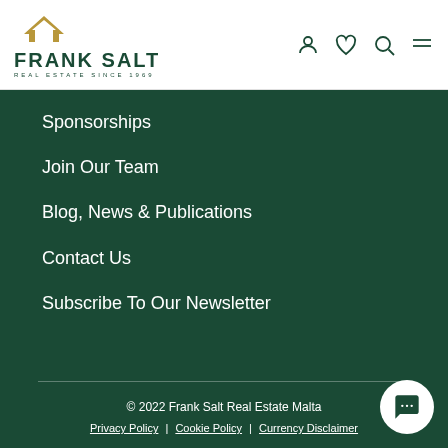[Figure (logo): Frank Salt Real Estate logo with gold chevron icon and dark green text reading FRANK SALT REAL ESTATE SINCE 1969]
Sponsorships
Join Our Team
Blog, News & Publications
Contact Us
Subscribe To Our Newsletter
© 2022 Frank Salt Real Estate Malta | Privacy Policy | Cookie Policy | Currency Disclaimer